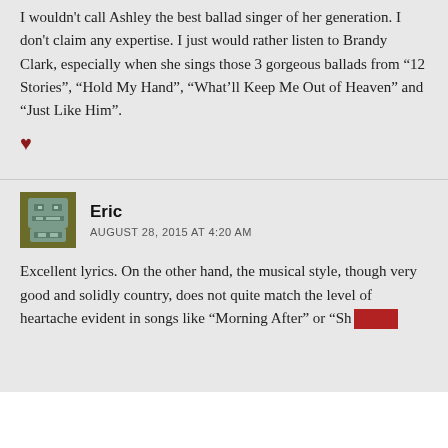I wouldn't call Ashley the best ballad singer of her generation. I don't claim any expertise. I just would rather listen to Brandy Clark, especially when she sings those 3 gorgeous ballads from “12 Stories”, “Hold My Hand”, “What’ll Keep Me Out of Heaven” and “Just Like Him”.
Eric
AUGUST 28, 2015 AT 4:20 AM
Excellent lyrics. On the other hand, the musical style, though very good and solidly country, does not quite match the level of heartache evident in songs like “Morning After” or “She’s...